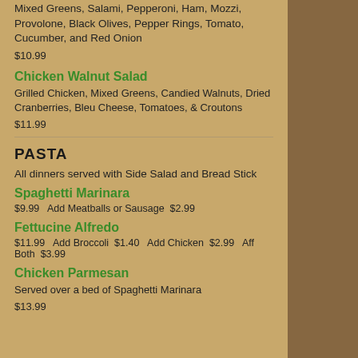Mixed Greens, Salami, Pepperoni, Ham, Mozzi, Provolone, Black Olives, Pepper Rings, Tomato, Cucumber, and Red Onion
$10.99
Chicken Walnut Salad
Grilled Chicken, Mixed Greens, Candied Walnuts, Dried Cranberries, Bleu Cheese, Tomatoes, & Croutons
$11.99
PASTA
All dinners served with Side Salad and Bread Stick
Spaghetti Marinara
$9.99   Add Meatballs or Sausage  $2.99
Fettucine Alfredo
$11.99   Add Broccoli  $1.40   Add Chicken  $2.99   Aff Both  $3.99
Chicken Parmesan
Served over a bed of Spaghetti Marinara
$13.99